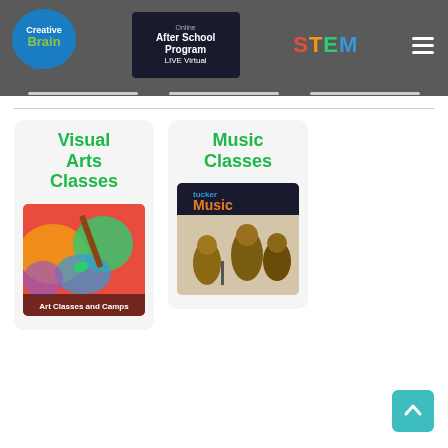[Figure (screenshot): Creative Brain logo on blue speech bubble, center banner showing 'Online After School Program LIVE Virtual' on dark background, STEM text in colorful letters, hamburger menu icon — website header navigation]
[Figure (screenshot): Card showing 'Visual Arts Classes' in green text with art classes image below showing colorful paint and brush with text 'Art Classes and Camps']
[Figure (screenshot): Card showing 'Music Classes' in green text with music image below showing Tucker Music branding with animal characters playing instruments]